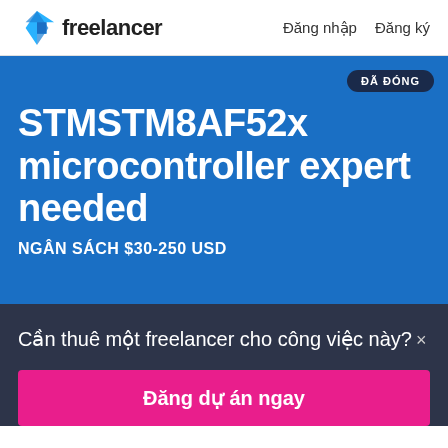freelancer  Đăng nhập  Đăng ký
STMSTM8AF52x microcontroller expert needed
NGÂN SÁCH $30-250 USD
ĐÃ ĐÓNG
Cần thuê một freelancer cho công việc này? ×
Đăng dự án ngay